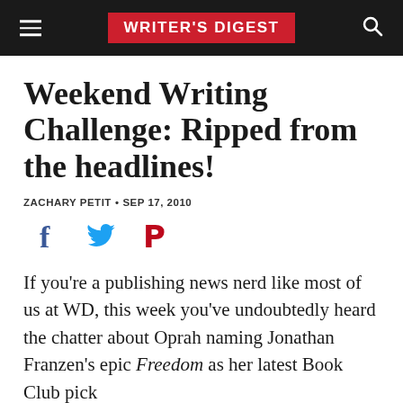WRITER'S DIGEST
Weekend Writing Challenge: Ripped from the headlines!
ZACHARY PETIT • SEP 17, 2010
[Figure (infographic): Social sharing icons: Facebook (blue), Twitter (blue bird), Pinterest (red P)]
If you're a publishing news nerd like most of us at WD, this week you've undoubtedly heard the chatter about Oprah naming Jonathan Franzen's epic Freedom as her latest Book Club pick.